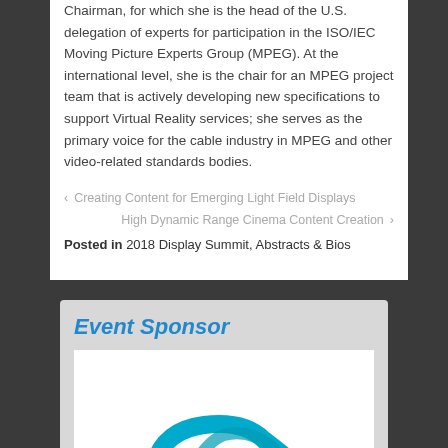Chairman, for which she is the head of the U.S. delegation of experts for participation in the ISO/IEC Moving Picture Experts Group (MPEG). At the international level, she is the chair for an MPEG project team that is actively developing new specifications to support Virtual Reality services; she serves as the primary voice for the cable industry in MPEG and other video-related standards bodies.
‹ Creating Content for Emerging Light Field Displays
High Dynamic Range Cinema Content Creation ›
Posted in 2018 Display Summit, Abstracts & Bios
[Figure (other): Event Sponsor banner with logo below — teal/blue curved arrow logo partially visible]